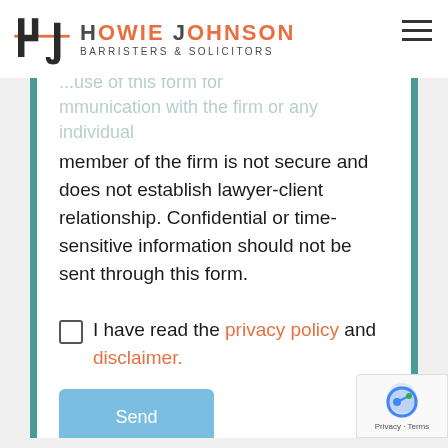Howie Johnson Barristers & Solicitors
The use of this form for communication with the firm or any individual member of the firm is not secure and does not establish lawyer-client relationship. Confidential or time-sensitive information should not be sent through this form.
I have read the privacy policy and disclaimer.
Send